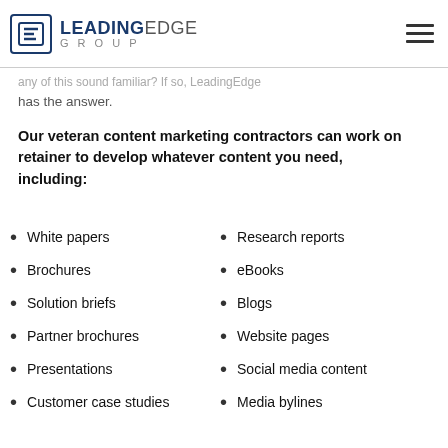Leading Edge Group
any of this sound familiar? If so, LeadingEdge has the answer.
Our veteran content marketing contractors can work on retainer to develop whatever content you need, including:
White papers
Brochures
Solution briefs
Partner brochures
Presentations
Customer case studies
Research reports
eBooks
Blogs
Website pages
Social media content
Media bylines